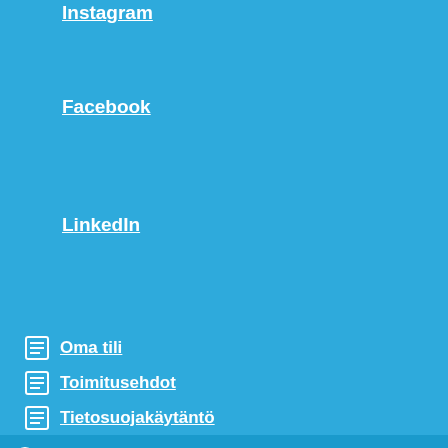Instagram
Facebook
LinkedIn
Oma tili
Toimitusehdot
Tietosuojakäytäntö
Toimitus kaikkiiin varastossa oleviin tuotteisiin 1-3pv
Piilota tämä ilmoitus
[Figure (infographic): Bottom navigation bar with user, search, and cart (0) icons]